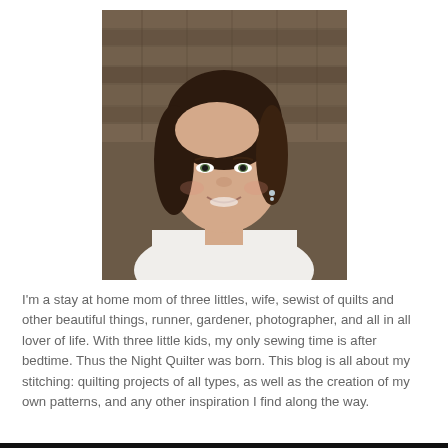[Figure (photo): Portrait photo of a smiling woman with short dark hair wearing a white top, photographed against a wooden shingle background.]
I'm a stay at home mom of three littles, wife, sewist of quilts and other beautiful things, runner, gardener, photographer, and all in all lover of life. With three little kids, my only sewing time is after bedtime. Thus the Night Quilter was born. This blog is all about my stitching: quilting projects of all types, as well as the creation of my own patterns, and any other inspiration I find along the way.